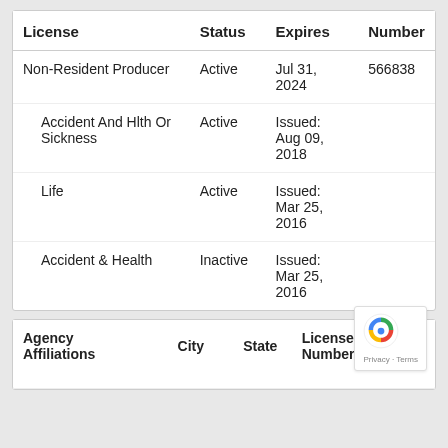| License | Status | Expires | Number |
| --- | --- | --- | --- |
| Non-Resident Producer | Active | Jul 31, 2024 | 566838 |
| Accident And Hlth Or Sickness | Active | Issued: Aug 09, 2018 |  |
| Life | Active | Issued: Mar 25, 2016 |  |
| Accident & Health | Inactive | Issued: Mar 25, 2016 |  |
| Agency Affiliations | City | State | License Number | Active Date |
| --- | --- | --- | --- | --- |